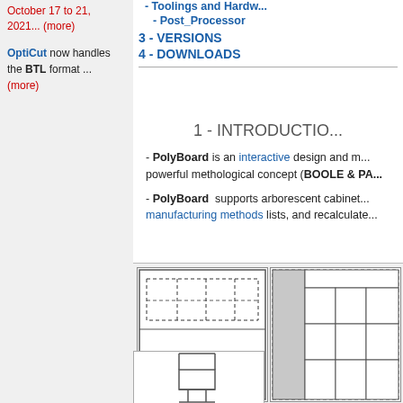October 17 to 21, 2021... (more)
OptiCut now handles the BTL format ... (more)
- Toolings and Hardware
- Post_Processor
3 - VERSIONS
4 - DOWNLOADS
1 - INTRODUCTION
- PolyBoard is an interactive design and manufacturing software based on a powerful methological concept (BOOLE & PA...
- PolyBoard supports arborescent cabinet structures, custom manufacturing methods lists, and recalculate...
[Figure (engineering-diagram): Two cabinet layout diagrams side by side: left shows a panel with dashed internal divisions, right shows a panel with grey shaded left section and grid of compartments]